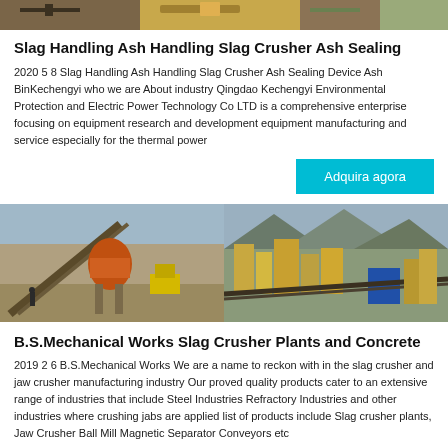[Figure (photo): Industrial mining/crushing equipment panoramic photo at top of page]
Slag Handling Ash Handling Slag Crusher Ash Sealing
2020 5 8 Slag Handling Ash Handling Slag Crusher Ash Sealing Device Ash BinKechengyi who we are About industry Qingdao Kechengyi Environmental Protection and Electric Power Technology Co LTD is a comprehensive enterprise focusing on equipment research and development equipment manufacturing and service especially for the thermal power
[Figure (other): Button: Adquira agora (cyan/blue background)]
[Figure (photo): Two side-by-side photos of industrial slag crusher plants and concrete facilities]
B.S.Mechanical Works Slag Crusher Plants and Concrete
2019 2 6 B.S.Mechanical Works We are a name to reckon with in the slag crusher and jaw crusher manufacturing industry Our proved quality products cater to an extensive range of industries that include Steel Industries Refractory Industries and other industries where crushing jabs are applied list of products include Slag crusher plants, Jaw Crusher Ball Mill Magnetic Separator Conveyors etc